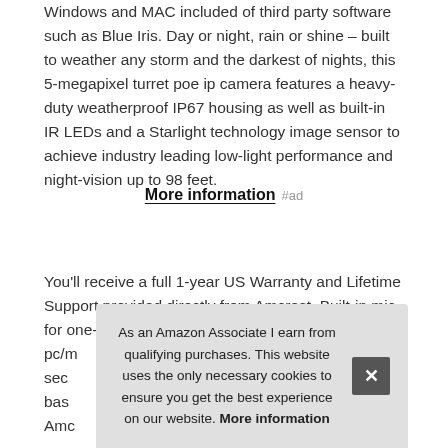Windows and MAC included of third party software such as Blue Iris. Day or night, rain or shine – built to weather any storm and the darkest of nights, this 5-megapixel turret poe ip camera features a heavy-duty weatherproof IP67 housing as well as built-in IR LEDs and a Starlight technology image sensor to achieve industry leading low-light performance and night-vision up to 98 feet.
More information #ad
You'll receive a full 1-year US Warranty and Lifetime Support provided directly from Amcrest. Built-in mic for one-way audio. This pc/m sec bas Amc
As an Amazon Associate I earn from qualifying purchases. This website uses the only necessary cookies to ensure you get the best experience on our website. More information